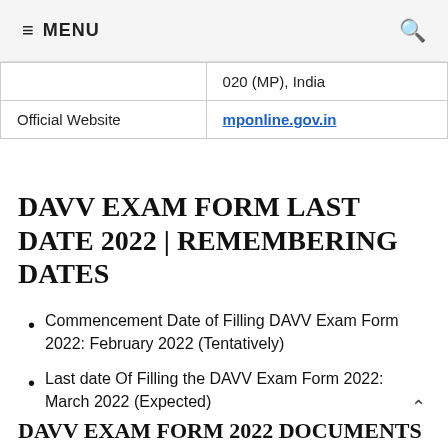≡ MENU  🔍
|  | 020 (MP), India |
| Official Website | mponline.gov.in |
DAVV EXAM FORM LAST DATE 2022 | REMEMBERING DATES
Commencement Date of Filling DAVV Exam Form 2022: February 2022 (Tentatively)
Last date Of Filling the DAVV Exam Form 2022: March 2022 (Expected)
DAVV EXAM FORM 2022 DOCUMENTS